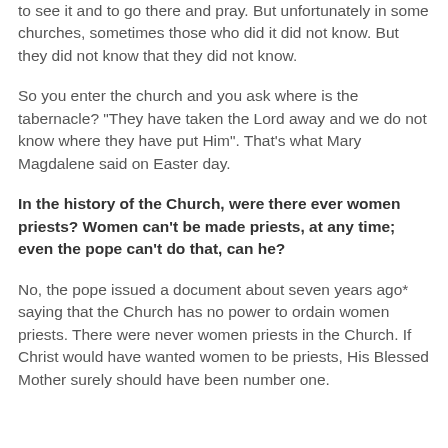to see it and to go there and pray. But unfortunately in some churches, sometimes those who did it did not know. But they did not know that they did not know.
So you enter the church and you ask where is the tabernacle? "They have taken the Lord away and we do not know where they have put Him". That's what Mary Magdalene said on Easter day.
In the history of the Church, were there ever women priests? Women can't be made priests, at any time; even the pope can't do that, can he?
No, the pope issued a document about seven years ago* saying that the Church has no power to ordain women priests. There were never women priests in the Church. If Christ would have wanted women to be priests, His Blessed Mother surely should have been number one.